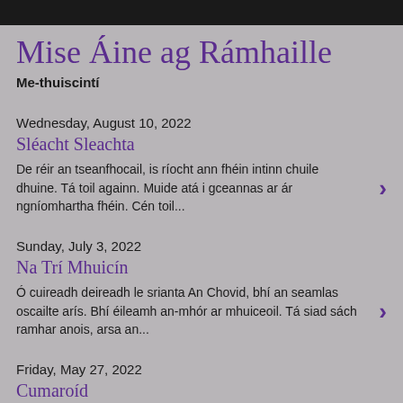Mise Áine ag Rámhaille
Me-thuiscintí
Wednesday, August 10, 2022
Sléacht Sleachta
De réir an tseanfhocail, is ríocht ann fhéin intinn chuile dhuine. Tá toil againn. Muide atá i gceannas ar ár ngníomhartha fhéin. Cén toil...
Sunday, July 3, 2022
Na Trí Mhuicín
Ó cuireadh deireadh le srianta An Chovid, bhí an seamlas oscailte arís. Bhí éileamh an-mhór ar mhuiceoil. Tá siad sách ramhar anois, arsa an...
Friday, May 27, 2022
Cumaroíd